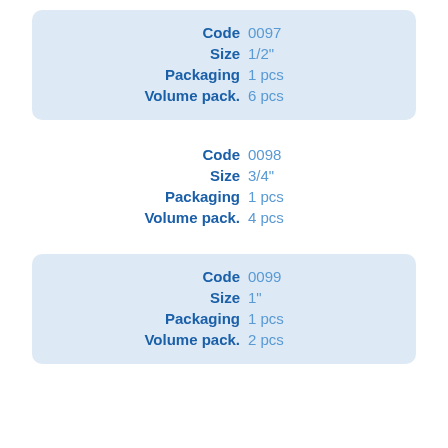| Field | Value |
| --- | --- |
| Code | 0097 |
| Size | 1/2" |
| Packaging | 1 pcs |
| Volume pack. | 6 pcs |
| Field | Value |
| --- | --- |
| Code | 0098 |
| Size | 3/4" |
| Packaging | 1 pcs |
| Volume pack. | 4 pcs |
| Field | Value |
| --- | --- |
| Code | 0099 |
| Size | 1" |
| Packaging | 1 pcs |
| Volume pack. | 2 pcs |